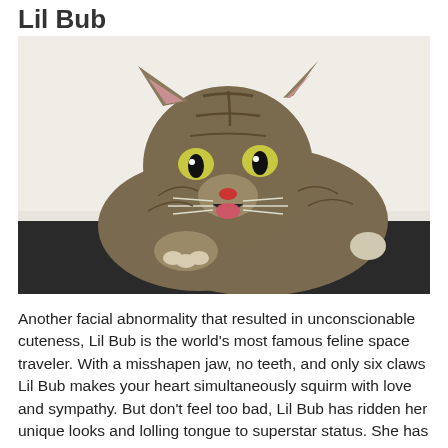Lil Bub
[Figure (photo): A tabby cat named Lil Bub with green eyes, a misshapen jaw, open mouth showing no teeth, lying on a dark surface against a white background.]
Another facial abnormality that resulted in unconscionable cuteness, Lil Bub is the world's most famous feline space traveler. With a misshapen jaw, no teeth, and only six claws Lil Bub makes your heart simultaneously squirm with love and sympathy. But don't feel too bad, Lil Bub has ridden her unique looks and lolling tongue to superstar status. She has books, highly viewed YouTube videos,